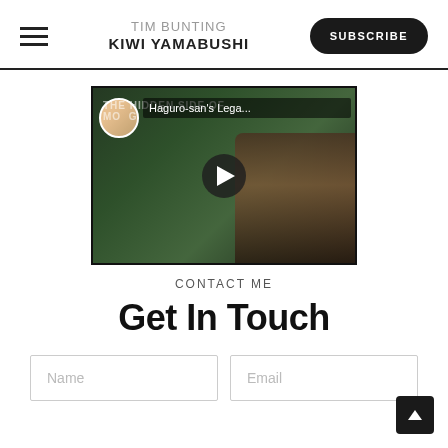TIM BUNTING KIWI YAMABUSHI
[Figure (screenshot): YouTube video thumbnail showing 'THE HIDDEN SIDE OF' text overlay and video title 'Haguro-san's Lega...' with a play button, showing a man's face and forest background]
CONTACT ME
Get In Touch